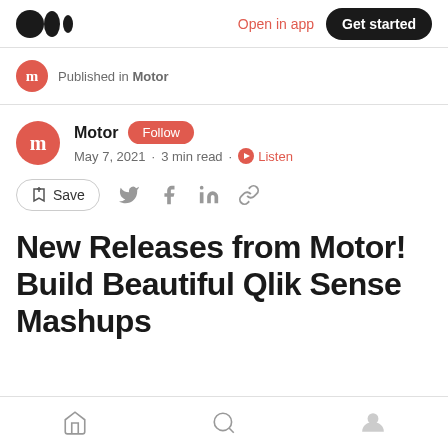Medium logo | Open in app | Get started
Published in Motor
Motor · Follow · May 7, 2021 · 3 min read · Listen
Save
New Releases from Motor! Build Beautiful Qlik Sense Mashups
Home | Search | Profile